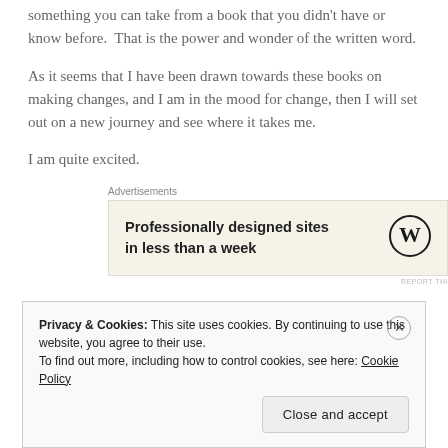something you can take from a book that you didn't have or know before. That is the power and wonder of the written word.
As it seems that I have been drawn towards these books on making changes, and I am in the mood for change, then I will set out on a new journey and see where it takes me.
I am quite excited.
[Figure (other): WordPress advertisement banner: 'Professionally designed sites in less than a week' with WordPress logo]
Privacy & Cookies: This site uses cookies. By continuing to use this website, you agree to their use. To find out more, including how to control cookies, see here: Cookie Policy